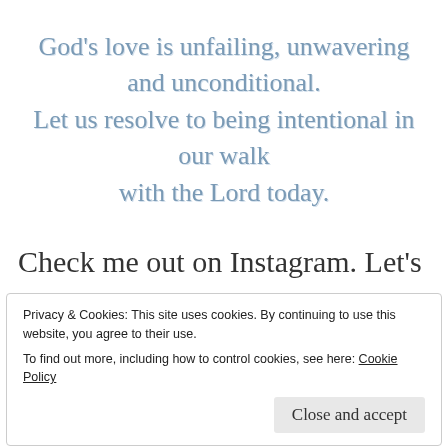God's love is unfailing, unwavering and unconditional. Let us resolve to being intentional in our walk with the Lord today.
Check me out on Instagram. Let's continue the conversation over on Instagram. Follow my Instagram and I will follow back, just let me know in the comment section. I would love to meet
Privacy & Cookies: This site uses cookies. By continuing to use this website, you agree to their use. To find out more, including how to control cookies, see here: Cookie Policy Close and accept